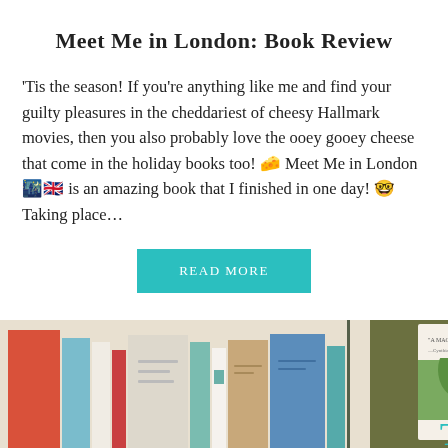Meet Me in London: Book Review
'Tis the season! If you're anything like me and find your guilty pleasures in the cheddariest of cheesy Hallmark movies, then you also probably love the ooey gooey cheese that come in the holiday books too! 🧀 Meet Me in London 🌃🇬🇧 is an amazing book that I finished in one day! 🤓 Taking place...
READ MORE
[Figure (illustration): Bottom image strip showing colorful illustrated books on the left and a book cover with text 'THE' visible on the right against an olive/brown background]